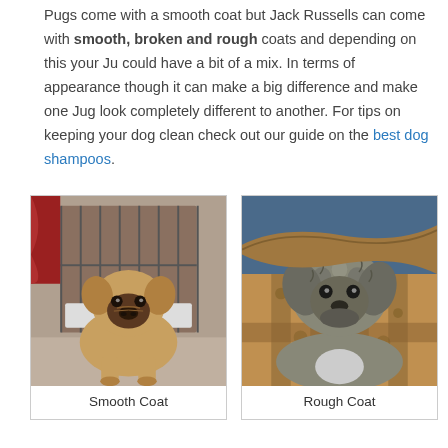Pugs come with a smooth coat but Jack Russells can come with smooth, broken and rough coats and depending on this your Ju could have a bit of a mix. In terms of appearance though it can make a big difference and make one Jug look completely different to another. For tips on keeping your dog clean check out our guide on the best dog shampoos.
[Figure (photo): Photo of a Jug dog (Pug-Jack Russell mix) with a smooth coat, sitting in front of a dog crate. The dog is tan/fawn colored. Caption: Smooth Coat.]
[Figure (photo): Photo of a Jug dog puppy with a rough coat, wrapped in a brown patterned blanket. The dog is gray/grizzle colored. Caption: Rough Coat.]